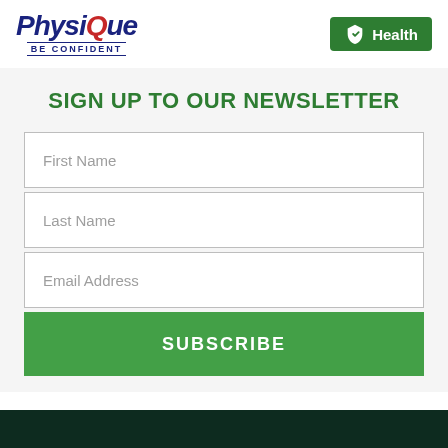[Figure (logo): Physique Be Confident logo with dark blue italic text and red accent]
[Figure (logo): Green Health logo with shield icon and white text]
SIGN UP TO OUR NEWSLETTER
First Name
Last Name
Email Address
SUBSCRIBE